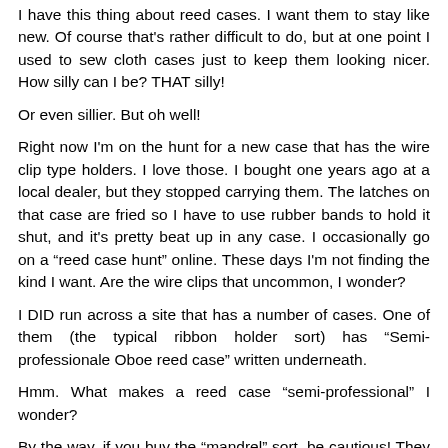I have this thing about reed cases. I want them to stay like new. Of course that's rather difficult to do, but at one point I used to sew cloth cases just to keep them looking nicer. How silly can I be? THAT silly!
Or even sillier. But oh well!
Right now I'm on the hunt for a new case that has the wire clip type holders. I love those. I bought one years ago at a local dealer, but they stopped carrying them. The latches on that case are fried so I have to use rubber bands to hold it shut, and it's pretty beat up in any case. I occasionally go on a “reed case hunt” online. These days I'm not finding the kind I want. Are the wire clips that uncommon, I wonder?
I DID run across a site that has a number of cases. One of them (the typical ribbon holder sort) has “Semi-professionale Oboe reed case” written underneath.
Hmm. What makes a reed case “semi-professional” I wonder?
By the way, if you buy the “mandrel” sort, be cautious! They don't